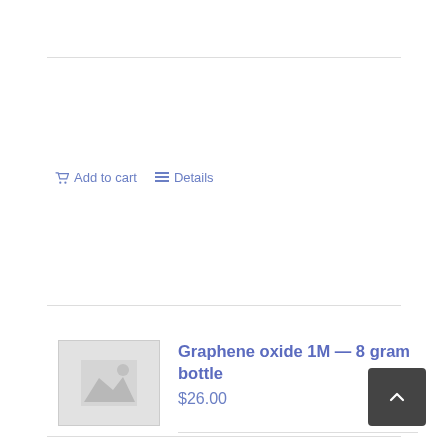Add to cart   Details
[Figure (photo): Placeholder product image thumbnail with mountain/landscape icon in gray]
Graphene oxide 1M — 8 gram bottle
$26.00
Add to cart   Details
[Figure (other): Dark gray back-to-top button with upward chevron arrow]